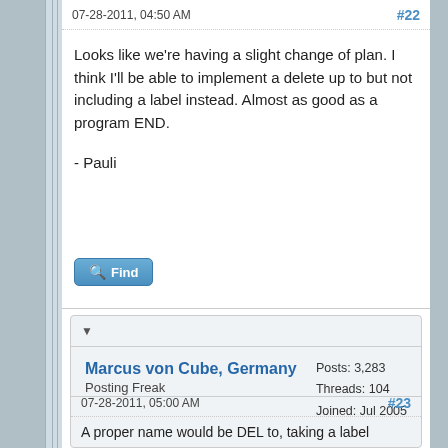07-28-2011, 04:50 AM  #22
Looks like we're having a slight change of plan. I think I'll be able to implement a delete up to but not including a label instead. Almost as good as a program END.
- Pauli
Find
Marcus von Cube, Germany
Posting Freak
Posts: 3,283
Threads: 104
Joined: Jul 2005
07-28-2011, 05:00 AM  #23
A proper name would be DEL to, taking a label